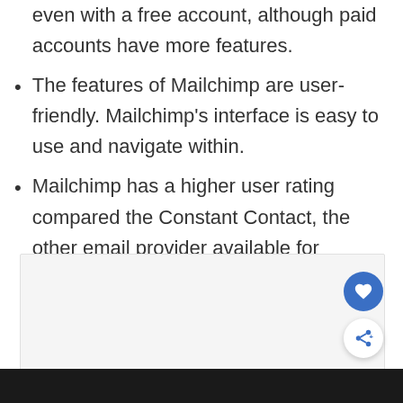even with a free account, although paid accounts have more features.
The features of Mailchimp are user-friendly. Mailchimp's interface is easy to use and navigate within.
Mailchimp has a higher user rating compared the Constant Contact, the other email provider available for Hootsuite integration.
[Figure (screenshot): A light gray placeholder image box with a blue circular heart/favorite button and a white circular share button overlaid on the right side.]